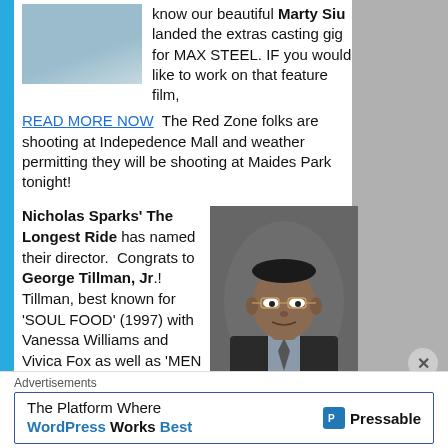[Figure (photo): Photo of a woman in a blue shirt at the top left]
know our beautiful Marty Siu landed the extras casting gig for MAX STEEL. IF you would like to work on that feature film, READ MORE NOW  The Red Zone folks are shooting at Indepedence Mall and weather permitting they will be shooting at Maides Park tonight!
Nicholas Sparks' The Longest Ride has named their director.  Congrats to George Tillman, Jr.! Tillman, best known for 'SOUL FOOD' (1997) with Vanessa Williams and Vivica Fox as well as 'MEN OF HONOR' (2000) with Robert DeNiro and Cuba
[Figure (photo): Photo of George Tillman Jr. wearing glasses and a suit]
Advertisements
The Platform Where WordPress Works Best  Pressable